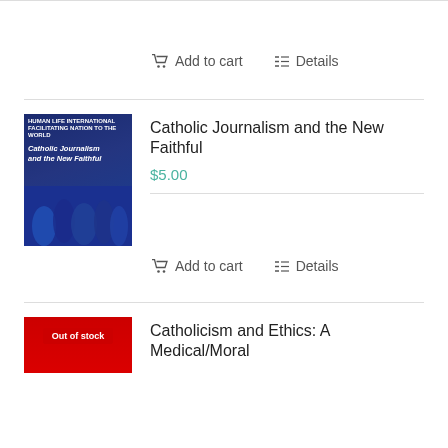[Figure (illustration): Add to cart and Details buttons at top of page]
Add to cart
Details
[Figure (photo): Book cover for Catholic Journalism and the New Faithful - dark blue cover with crowd image]
Catholic Journalism and the New Faithful
$5.00
Add to cart
Details
[Figure (photo): Book cover for Catholicism and Ethics: A Medical/Moral - red cover with Out of stock badge]
Catholicism and Ethics: A Medical/Moral